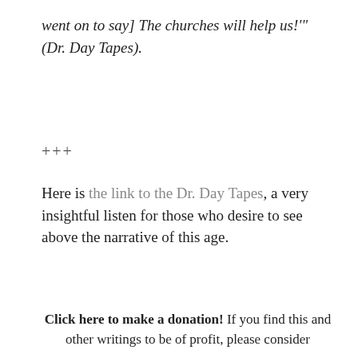went on to say] The churches will help us!'" (Dr. Day Tapes).
+++
Here is the link to the Dr. Day Tapes, a very insightful listen for those who desire to see above the narrative of this age.
Click here to make a donation! If you find this and other writings to be of profit, please consider